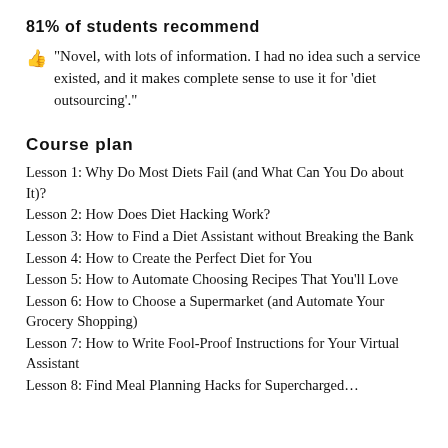81% of students recommend
👍 “Novel, with lots of information. I had no idea such a service existed, and it makes complete sense to use it for ‘diet outsourcing’.”
Course plan
Lesson 1: Why Do Most Diets Fail (and What Can You Do about It)?
Lesson 2: How Does Diet Hacking Work?
Lesson 3: How to Find a Diet Assistant without Breaking the Bank
Lesson 4: How to Create the Perfect Diet for You
Lesson 5: How to Automate Choosing Recipes That You’ll Love
Lesson 6: How to Choose a Supermarket (and Automate Your Grocery Shopping)
Lesson 7: How to Write Fool-Proof Instructions for Your Virtual Assistant
Lesson 8: Find Meal Planning Hacks for Supercharged...